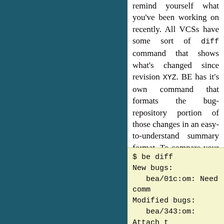remind yourself what you've been working on recently. All VCSs have some sort of diff command that shows what's changed since revision XYZ. BE has it's own command that formats the bug-repository portion of those changes in an easy-to-understand summary format. To compare your working tree with the last commit:
$ be diff
New bugs:
   bea/01c:om: Need comm
Modified bugs:
   bea/343:om: Attach t
      Changed bug settin
         creator: None ->